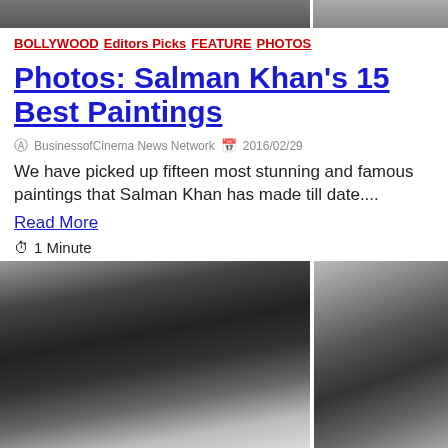[Figure (photo): Top partial photo strip, black and white, two images side by side]
BOLLYWOOD Editors Picks FEATURE PHOTOS
Photos: Salman Khan's 15 Best Paintings
BusinessofCinema News Network  2016/02/29
We have picked up fifteen most stunning and famous paintings that Salman Khan has made till date....
Read More
1 Minute
[Figure (photo): Bottom black and white photos of a person's head/hair, two images side by side separated by a white divider]